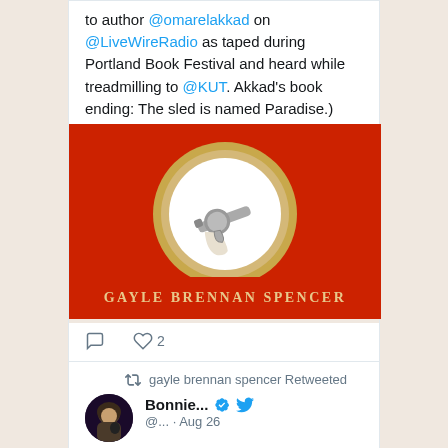to author @omarelakkad on @LiveWireRadio as taped during Portland Book Festival and heard while treadmilling to @KUT. Akkad's book ending: The sled is named Paradise.)
[Figure (photo): Book cover image with red background, ornate gold oval frame containing a small revolver with pearl grip. Author name 'GAYLE BRENNAN SPENCER' at bottom in gold letters on red background.]
♡ 2 (like count)
gayle brennan spencer Retweeted
Bonnie... @... · Aug 26
Starting this Saturday,